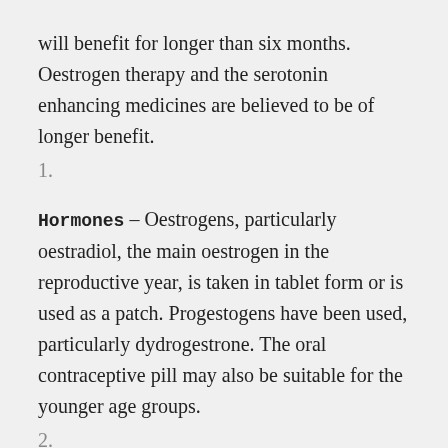will benefit for longer than six months. Oestrogen therapy and the serotonin enhancing medicines are believed to be of longer benefit.
1.
Hormones – Oestrogens, particularly oestradiol, the main oestrogen in the reproductive year, is taken in tablet form or is used as a patch. Progestogens have been used, particularly dydrogestrone. The oral contraceptive pill may also be suitable for the younger age groups.
2.
Anti-prostaglandins – Anti-prostaglandins are used for painful periods, and they may also help with premenstrual pain. Two commonly used anti-prostaglandins are Ponstan and Naprogestic.